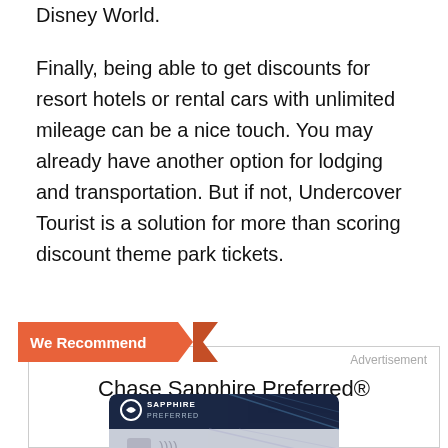Disney World.
Finally, being able to get discounts for resort hotels or rental cars with unlimited mileage can be a nice touch. You may already have another option for lodging and transportation. But if not, Undercover Tourist is a solution for more than scoring discount theme park tickets.
[Figure (infographic): We Recommend banner ribbon in orange-red over an advertisement box containing Chase Sapphire Preferred® Card title and a credit card image showing SAPPHIRE PREFERRED branding on a dark navy background with light blue diagonal lines.]